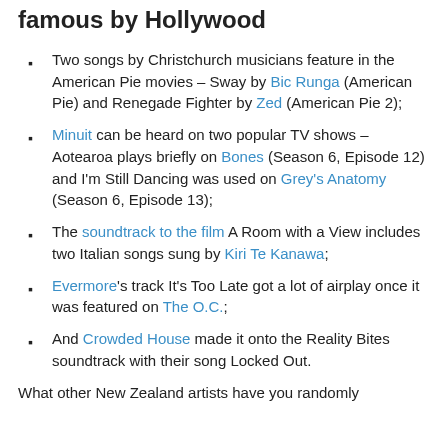famous by Hollywood
Two songs by Christchurch musicians feature in the American Pie movies – Sway by Bic Runga (American Pie) and Renegade Fighter by Zed (American Pie 2);
Minuit can be heard on two popular TV shows – Aotearoa plays briefly on Bones (Season 6, Episode 12) and I'm Still Dancing was used on Grey's Anatomy (Season 6, Episode 13);
The soundtrack to the film A Room with a View includes two Italian songs sung by Kiri Te Kanawa;
Evermore's track It's Too Late got a lot of airplay once it was featured on The O.C.;
And Crowded House made it onto the Reality Bites soundtrack with their song Locked Out.
What other New Zealand artists have you randomly